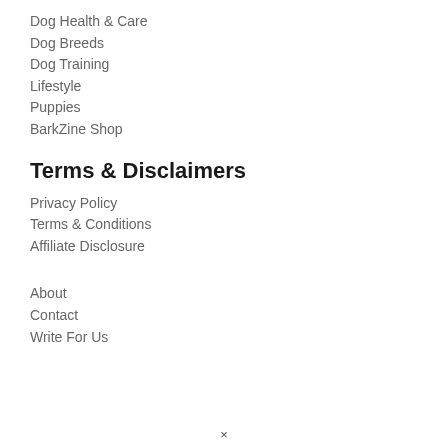Dog Health & Care
Dog Breeds
Dog Training
Lifestyle
Puppies
BarkZine Shop
Terms & Disclaimers
Privacy Policy
Terms & Conditions
Affiliate Disclosure
About
Contact
Write For Us